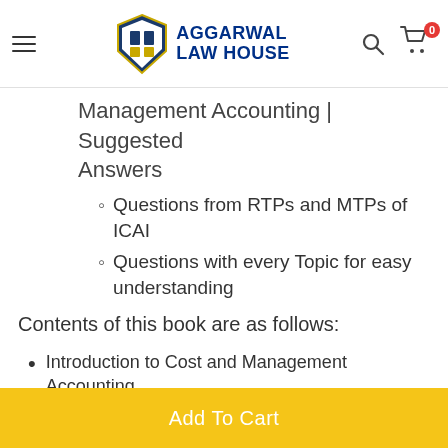Aggarwal Law House
Management Accounting | Suggested Answers
Questions from RTPs and MTPs of ICAI
Questions with every Topic for easy understanding
Contents of this book are as follows:
Introduction to Cost and Management Accounting
Material Cost
Employee Cost
Overheads: Absorption Costing Method
Activity Based Costing
Cost Sheet
Cost Accounting System
Unit and Batch Costing
Add To Cart